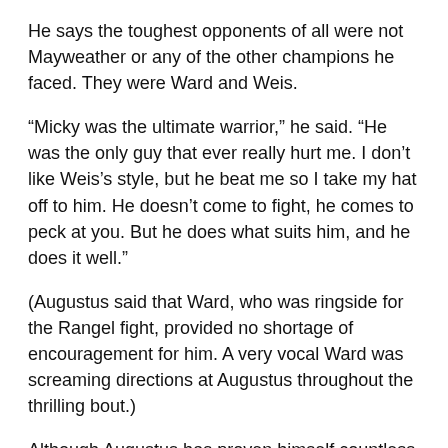He says the toughest opponents of all were not Mayweather or any of the other champions he faced. They were Ward and Weis.
“Micky was the ultimate warrior,” he said. “He was the only guy that ever really hurt me. I don’t like Weis’s style, but he beat me so I take my hat off to him. He doesn’t come to fight, he comes to peck at you. But he does what suits him, and he does it well.”
(Augustus said that Ward, who was ringside for the Rangel fight, provided no shortage of encouragement for him. A very vocal Ward was screaming directions at Augustus throughout the thrilling bout.)
Although Augustus has proven himself countless times in mostly losing efforts, his fight with the Miami-based Rangel, now 30-9-1 (26 KOs), was basically an audition